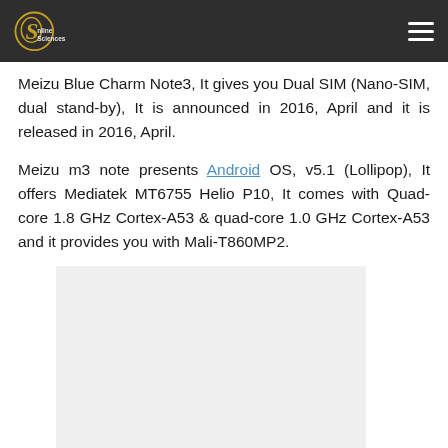Online Sciences
Meizu Blue Charm Note3, It gives you Dual SIM (Nano-SIM, dual stand-by), It is announced in 2016, April and it is released in 2016, April.
Meizu m3 note presents Android OS, v5.1 (Lollipop), It offers Mediatek MT6755 Helio P10, It comes with Quad-core 1.8 GHz Cortex-A53 & quad-core 1.0 GHz Cortex-A53 and it provides you with Mali-T860MP2.
[Figure (other): Placeholder advertisement or image area, light gray rectangle]